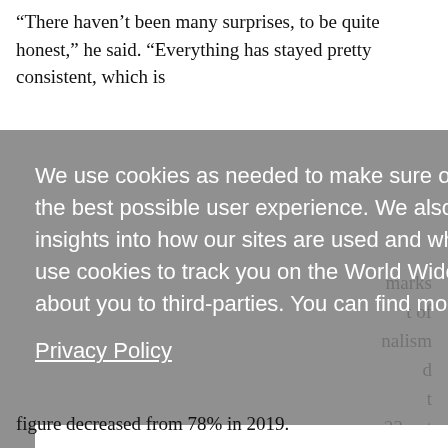“There haven’t been many surprises, to be quite honest,” he said. “Everything has stayed pretty consistent, which is
[Figure (screenshot): Cookie consent overlay dialog with gray semi-transparent background. Contains text: 'We use cookies as needed to make sure our sites work properly and to provide the best possible user experience. We also use analytics cookies to give us insights into how our sites are used and what features are popular. We do not use cookies to track you on the World Wide Web or to sell any information about you to third-parties. You can find more information in our Privacy Policy' with a white Accept button at the bottom.]
figure decreased from 78% in 2019.